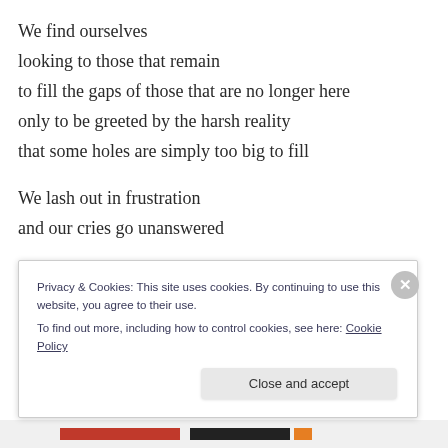We find ourselves
looking to those that remain
to fill the gaps of those that are no longer here
only to be greeted by the harsh reality
that some holes are simply too big to fill

We lash out in frustration
and our cries go unanswered

We walk a path toward peace
on a narrow road nestled neatly
Privacy & Cookies: This site uses cookies. By continuing to use this website, you agree to their use.
To find out more, including how to control cookies, see here: Cookie Policy